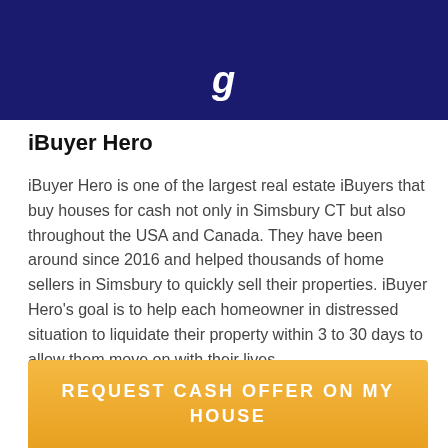[Figure (illustration): Dark navy blue banner header with italic white text partially visible at bottom]
iBuyer Hero
iBuyer Hero is one of the largest real estate iBuyers that buy houses for cash not only in Simsbury CT but also throughout the USA and Canada. They have been around since 2016 and helped thousands of home sellers in Simsbury to quickly sell their properties. iBuyer Hero’s goal is to help each homeowner in distressed situation to liquidate their property within 3 to 30 days to allow them move on with their lives.
REQUEST CASH OFFER ON MY HOUSE